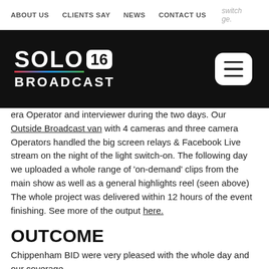ABOUT US   CLIENTS SAY   NEWS   CONTACT US   switch  ge.
[Figure (logo): Solo16 Broadcast logo on black background with hamburger menu button]
Operator and interviewer during the two days. Our Outside Broadcast van with 4 cameras and three camera Operators handled the big screen relays & Facebook Live stream on the night of the light switch-on. The following day we uploaded a whole range of 'on-demand' clips from the main show as well as a general highlights reel (seen above) The whole project was delivered within 12 hours of the event finishing. See more of the output here.
OUTCOME
Chippenham BID were very pleased with the whole day and our coverage.
'solo16 truly go above and beyond to ensure they capture the very best elements of an event. Attention to detail and a clear understanding of a client brief is second nature to them and they are a pleasure to work with. Highly recommended.' - Chippenham BID Company.